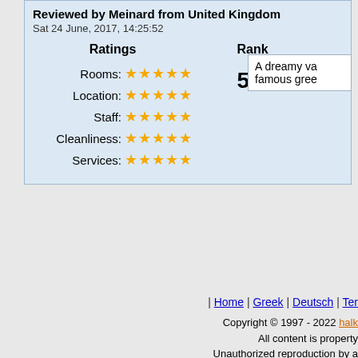Reviewed by Meinard from United Kingdom
Sat 24 June, 2017, 14:25:52
| Ratings | Rank |
| --- | --- |
| Rooms: ★★★★★ | 5.0 |
| Location: ★★★★★ |  |
| Staff: ★★★★★ |  |
| Cleanliness: ★★★★★ |  |
| Services: ★★★★★ |  |
A dreamy va
famous gree
| Home | Greek | Deutsch | Ter
Copyright © 1997 - 2022 halk
All content is property
Unauthorized reproduction by a